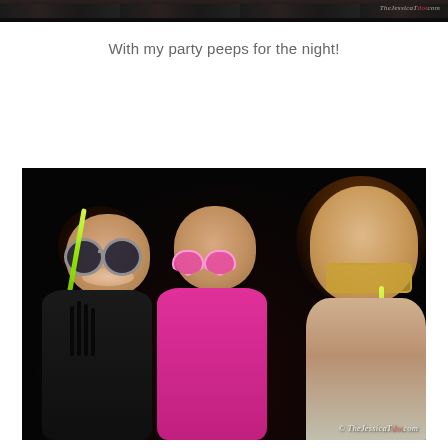[Figure (photo): Top strip of a group party photo, dark background, partially visible at top of page]
With my party peeps for the night!
[Figure (photo): Three young women posing at a night party. Left person wears round black sunglasses and a glowstick. Middle person wears pink heart-shaped sunglasses and a pink outfit. Right person wears yellow/tan sunglasses and holds a glowstick. Watermark reads: © TheJessicaT dot com]